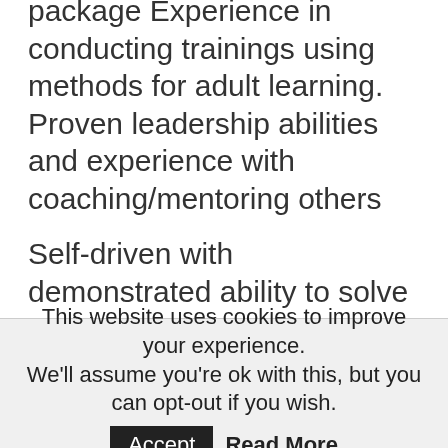package Experience in conducting trainings using methods for adult learning. Proven leadership abilities and experience with coaching/mentoring others
Self-driven with demonstrated ability to solve problems, and work independently, and in collaboration with a team
Fluent in spoken and written Kinyarwanda and English; proficiency in other languages a plus (i.e. French)
This website uses cookies to improve your experience. We'll assume you're ok with this, but you can opt-out if you wish. Accept Read More